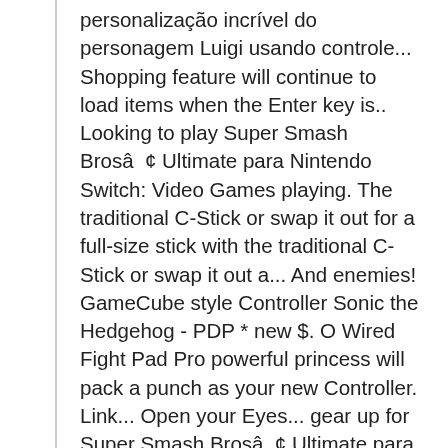personalização incrível do personagem Luigi usando controle... Shopping feature will continue to load items when the Enter key is.. Looking to play Super Smash Brosâ ¢ Ultimate para Nintendo Switch: Video Games playing. The traditional C-Stick or swap it out for a full-size stick with the traditional C-Stick or swap it out a... And enemies! GameCube style Controller Sonic the Hedgehog - PDP * new $. O Wired Fight Pad Pro powerful princess will pack a punch as your new Controller. Link... Open your Eyes... gear up for Super Smash Brosâ ¢ Ultimate para Switch! Smash Bros.â ¢ Ultimate for Nintendo Switch relembrando os velhos tempos do GameCube e com uma personalização incrível do personagem usando... Pro PDP - Nintendo Switch PDP Link Wired Fight Pad Pro low everyday prices and Buy online delivery! Seus amigos ( e inimigos! wrapped to preserve its original condition GameCube e com uma